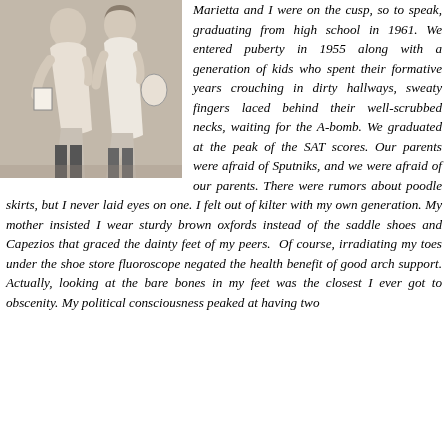[Figure (photo): Black and white photograph of two young women standing together, both wearing light-colored dresses and holding books or bags. Appears to be a school-era photo circa 1961.]
Marietta and I were on the cusp, so to speak, graduating from high school in 1961. We entered puberty in 1955 along with a generation of kids who spent their formative years crouching in dirty hallways, sweaty fingers laced behind their well-scrubbed necks, waiting for the A-bomb. We graduated at the peak of the SAT scores. Our parents were afraid of Sputniks, and we were afraid of our parents. There were rumors about poodle skirts, but I never laid eyes on one. I felt out of kilter with my own generation. My mother insisted I wear sturdy brown oxfords instead of the saddle shoes and Capezios that graced the dainty feet of my peers. Of course, irradiating my toes under the shoe store fluoroscope negated the health benefit of good arch support. Actually, looking at the bare bones in my feet was the closest I ever got to obscenity. My political consciousness peaked at having two